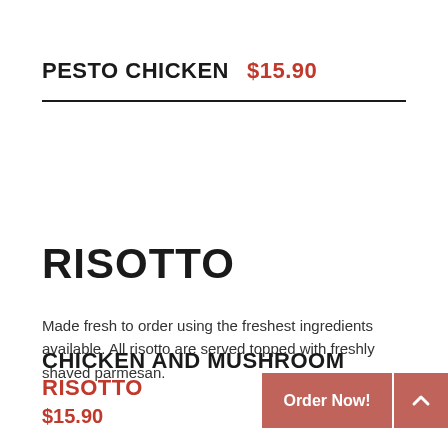PESTO CHICKEN $15.90
RISOTTO
Made fresh to order using the freshest ingredients available. All risotto are served topped with freshly shaved parmesan.
CHICKEN AND MUSHROOM RISOTTO $15.90